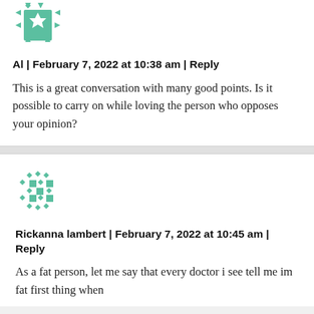[Figure (illustration): Geometric teal/green avatar icon with star and arrow patterns on white background]
Al | February 7, 2022 at 10:38 am | Reply
This is a great conversation with many good points. Is it possible to carry on while loving the person who opposes your opinion?
[Figure (illustration): Geometric teal/green avatar icon with diamond and square patterns]
Rickanna lambert | February 7, 2022 at 10:45 am | Reply
As a fat person, let me say that every doctor i see tell me im fat first thing when